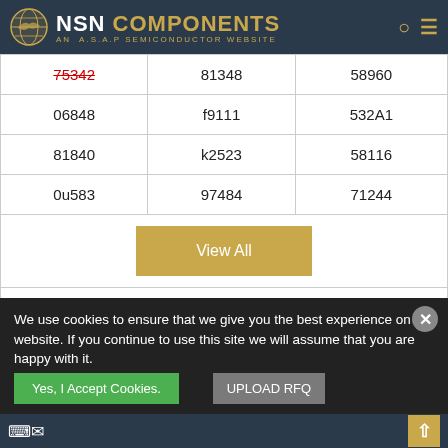[Figure (logo): NSN Components - An A.S.A.P Semiconductor Website logo with globe icon on dark navy header]
| 75342 | 81348 | 58960 |
| 06848 | f9111 | 532A1 |
| 81840 | k2523 | 58116 |
| 0u583 | 97484 | 71244 |
A.S.A.P. Semiconductor's Certifications and Memberships
We use cookies to ensure that we give you the best experience on our website. If you continue to use this site we will assume that you are happy with it.
Yes, I Accept Cookies. | UPLOAD RFQ